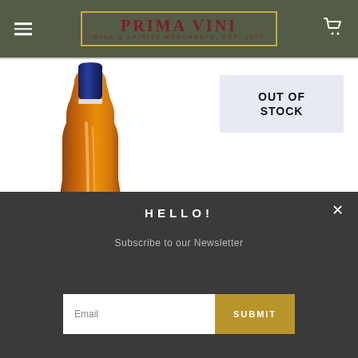PRIMA VINI — WINE & SPIRITS MERCHANTS, EST. 1977
[Figure (photo): A bottle of wine/spirits with a dark navy blue cap and amber/cognac-colored liquid body, photographed against a white background]
OUT OF STOCK
HELLO!
Subscribe to our Newsletter
Email
SUBMIT